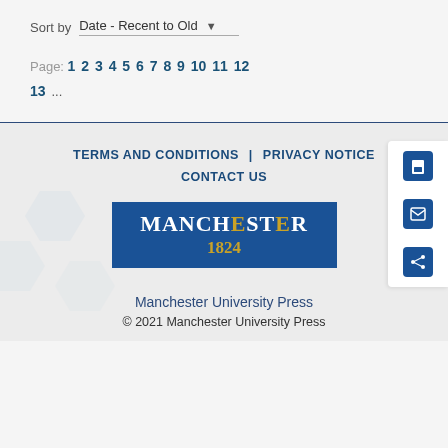Sort by  Date - Recent to Old
Page: 1 2 3 4 5 6 7 8 9 10 11 12 13 ...
TERMS AND CONDITIONS | PRIVACY NOTICE | CONTACT US
[Figure (logo): Manchester University Press logo - blue rectangle with MANCHESTER 1824 text in white and gold]
Manchester University Press
© 2021 Manchester University Press